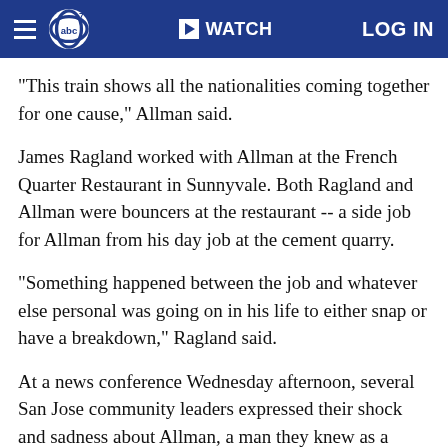ABC7 | WATCH | LOG IN
"This train shows all the nationalities coming together for one cause," Allman said.
James Ragland worked with Allman at the French Quarter Restaurant in Sunnyvale. Both Ragland and Allman were bouncers at the restaurant -- a side job for Allman from his day job at the cement quarry.
"Something happened between the job and whatever else personal was going on in his life to either snap or have a breakdown," Ragland said.
At a news conference Wednesday afternoon, several San Jose community leaders expressed their shock and sadness about Allman, a man they knew as a friend.